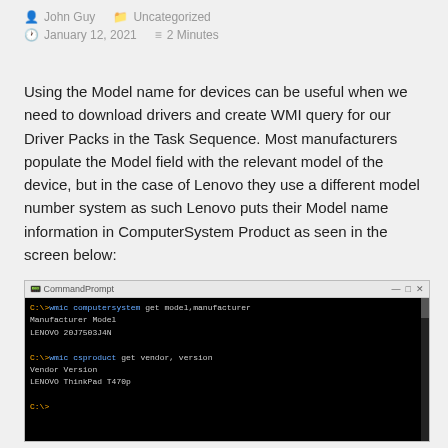John Guy   Uncategorized   January 12, 2021   2 Minutes
Using the Model name for devices can be useful when we need to download drivers and create WMI query for our Driver Packs in the Task Sequence. Most manufacturers populate the Model field with the relevant model of the device, but in the case of Lenovo they use a different model number system as such Lenovo puts their Model name information in ComputerSystem Product as seen in the screen below:
[Figure (screenshot): Windows command prompt (CommandPrompt) showing two WMIC commands: 'wmic computersystem get model,manufacturer' returning LENOVO and 20J7503J4N, and 'wmic csproduct get vendor,version' returning LENOVO and ThinkPad T470p]